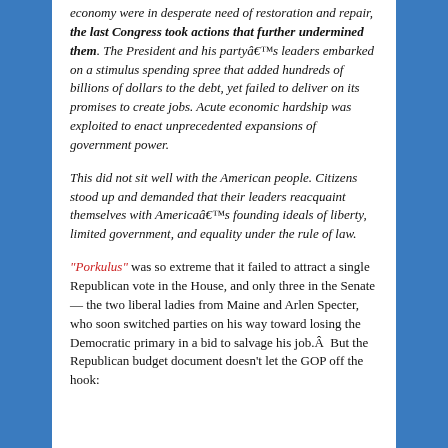economy were in desperate need of restoration and repair, the last Congress took actions that further undermined them. The President and his partyâ€™s leaders embarked on a stimulus spending spree that added hundreds of billions of dollars to the debt, yet failed to deliver on its promises to create jobs. Acute economic hardship was exploited to enact unprecedented expansions of government power.
This did not sit well with the American people. Citizens stood up and demanded that their leaders reacquaint themselves with Americaâ€™s founding ideals of liberty, limited government, and equality under the rule of law.
"Porkulus" was so extreme that it failed to attract a single Republican vote in the House, and only three in the Senate — the two liberal ladies from Maine and Arlen Specter, who soon switched parties on his way toward losing the Democratic primary in a bid to salvage his job.Â  But the Republican budget document doesn't let the GOP off the hook: